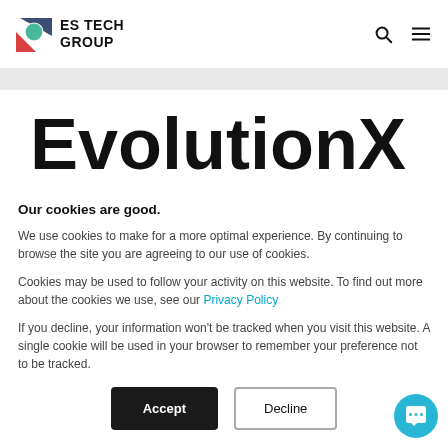ES TECH GROUP
EvolutionX
Our cookies are good.
We use cookies to make for a more optimal experience. By continuing to browse the site you are agreeing to our use of cookies.
Cookies may be used to follow your activity on this website. To find out more about the cookies we use, see our Privacy Policy
If you decline, your information won't be tracked when you visit this website. A single cookie will be used in your browser to remember your preference not to be tracked.